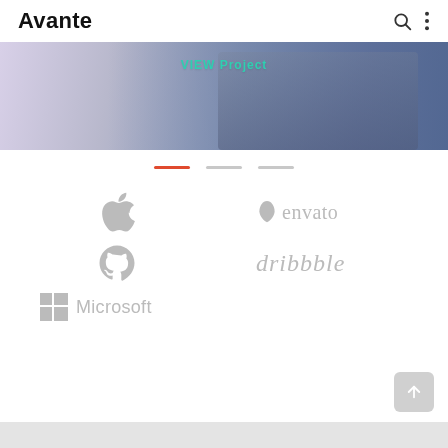Avante
[Figure (photo): Hero banner image showing a person holding a phone/tablet, with 'VIEW Project' text overlay in teal/green color. Background is blurred office/workspace scene.]
[Figure (infographic): Slider navigation indicator with three horizontal dashes: first in red/orange, second and third in light gray.]
[Figure (logo): Apple logo (gray), GitHub logo (gray), Microsoft logo with Windows grid icon (gray), Envato logo with leaf icon (gray), Dribbble logo (gray)]